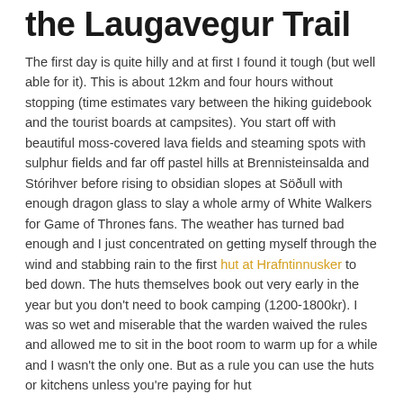the Laugavegur Trail
The first day is quite hilly and at first I found it tough (but well able for it). This is about 12km and four hours without stopping (time estimates vary between the hiking guidebook and the tourist boards at campsites). You start off with beautiful moss-covered lava fields and steaming spots with sulphur fields and far off pastel hills at Brennisteinsalda and Stórihver before rising to obsidian slopes at Söðull with enough dragon glass to slay a whole army of White Walkers for Game of Thrones fans. The weather has turned bad enough and I just concentrated on getting myself through the wind and stabbing rain to the first hut at Hrafntinnusker to bed down. The huts themselves book out very early in the year but you don't need to book camping (1200-1800kr). I was so wet and miserable that the warden waived the rules and allowed me to sit in the boot room to warm up for a while and I wasn't the only one. But as a rule you can use the huts or kitchens unless you're paying for hut